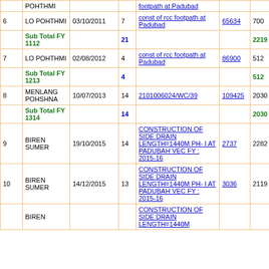| # | Name | Date | Ward | Work | Bill No | Amount | Balance |
| --- | --- | --- | --- | --- | --- | --- | --- |
|  | POHTHMI |  |  | footpath at Padubad |  |  |  |
| 6 | LO POHTHMI | 03/10/2011 | 7 | const of rcc footpath at Padubad | 65634 | 700 | 0 |
|  | Sub Total FY 1112 |  | 21 |  |  | 2219 | 0 |
| 7 | LO POHTHMI | 02/08/2012 | 4 | const of rcc footpath at Padubad | 86900 | 512 | 0 |
|  | Sub Total FY 1213 |  | 4 |  |  | 512 | 0 |
| 8 | MENLANG POHSHNA | 10/07/2013 | 14 | 2101006024/WC/39 | 109425 | 2030 | 0 |
|  | Sub Total FY 1314 |  | 14 |  |  | 2030 | 0 |
| 9 | BIREN SUMER | 19/10/2015 | 14 | CONSTRUCTION OF SIDE DRAIN LENGTH=1440M PH- I AT PADUBAH VEC FY : 2015-16 | 2737 | 2282 | 0 |
| 10 | BIREN SUMER | 14/12/2015 | 13 | CONSTRUCTION OF SIDE DRAIN LENGTH=1440M PH- I AT PADUBAH VEC FY : 2015-16 | 3036 | 2119 | 0 |
|  | BIREN ... |  |  | CONSTRUCTION OF SIDE DRAIN LENGTH=1440M ... |  |  |  |